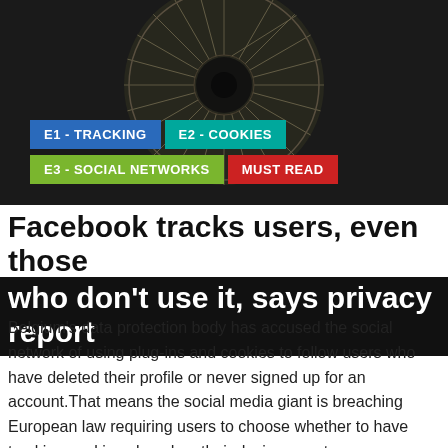[Figure (illustration): Dark background image showing an eye-like circular radial pattern, resembling an eyeball or iris with radiating lines, rendered in a vintage engraving style against a dark/black background.]
E1 - TRACKING
E2 - COOKIES
E3 - SOCIAL NETWORKS
MUST READ
Facebook tracks users, even those who don't use it, says privacy report
Belgium's data protection body has accused the social network of using plug-ins and cookies to follow users who have deleted their profile or never signed up for an account.That means the social media giant is breaching European law requiring users to choose whether to have tracking cookies placed on their device or not.